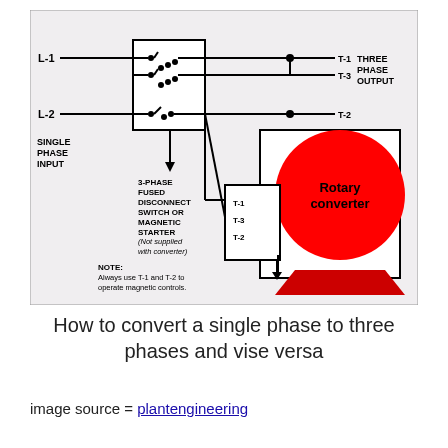[Figure (schematic): Wiring diagram showing single phase input (L-1, L-2) connected to a 3-phase fused disconnect switch or magnetic starter, then to a rotary converter with three-phase output (T-1, T-3, T-2). Includes note about using T-1 and T-2 for magnetic controls.]
How to convert a single phase to three phases and vise versa
image source = plantengineering